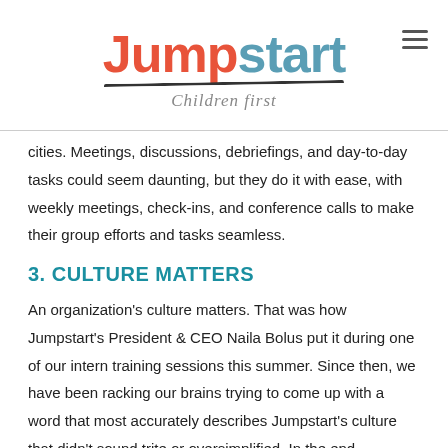Jumpstart — Children first
cities. Meetings, discussions, debriefings, and day-to-day tasks could seem daunting, but they do it with ease, with weekly meetings, check-ins, and conference calls to make their group efforts and tasks seamless.
3. CULTURE MATTERS
An organization's culture matters. That was how Jumpstart's President & CEO Naila Bolus put it during one of our intern training sessions this summer. Since then, we have been racking our brains trying to come up with a word that most accurately describes Jumpstart's culture that didn't sound trite or oversimplified. In the end, however, we can't think of a better way to describe it other than 'happy.' Jumpstart is a